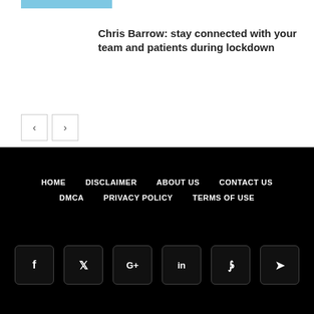[Figure (other): Blue decorative bar at top of article card]
Chris Barrow: stay connected with your team and patients during lockdown
[Figure (other): Previous and next navigation buttons (< and >)]
HOME  DISCLAIMER  ABOUT US  CONTACT US  DMCA  PRIVACY POLICY  TERMS OF USE
[Figure (other): Social media icon buttons: Facebook, Twitter, Google+, LinkedIn, Pinterest, Telegram]